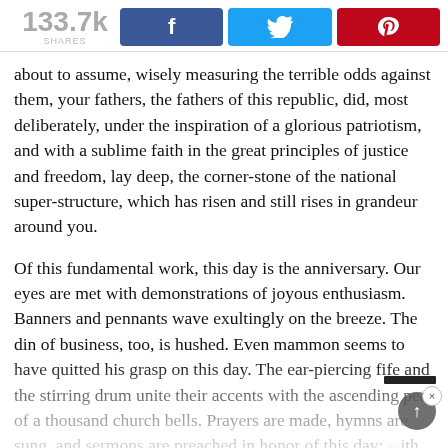133.7k SHARES [Facebook] [Twitter] [Pinterest]
about to assume, wisely measuring the terrible odds against them, your fathers, the fathers of this republic, did, most deliberately, under the inspiration of a glorious patriotism, and with a sublime faith in the great principles of justice and freedom, lay deep, the corner-stone of the national super-structure, which has risen and still rises in grandeur around you.
Of this fundamental work, this day is the anniversary. Our eyes are met with demonstrations of joyous enthusiasm. Banners and pennants wave exultingly on the breeze. The din of business, too, is hushed. Even mammon seems to have quitted his grasp on this day. The ear-piercing fife and the stirring drum unite their accents with the ascending peal of a thousand church bells. Prayers are made, hymns are sung, and sermons are preached in honor of this day; with the quick martial tramp of a great and multitudinous nation, echoed back by all the hills, valleys and mountains of